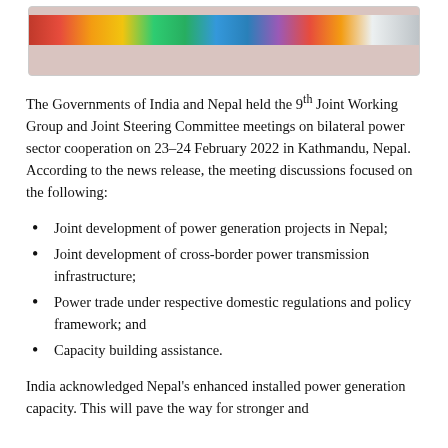[Figure (photo): A photo strip showing a group meeting/conference scene with colorful flags or decorations visible.]
The Governments of India and Nepal held the 9th Joint Working Group and Joint Steering Committee meetings on bilateral power sector cooperation on 23–24 February 2022 in Kathmandu, Nepal. According to the news release, the meeting discussions focused on the following:
Joint development of power generation projects in Nepal;
Joint development of cross-border power transmission infrastructure;
Power trade under respective domestic regulations and policy framework; and
Capacity building assistance.
India acknowledged Nepal's enhanced installed power generation capacity. This will pave the way for stronger and